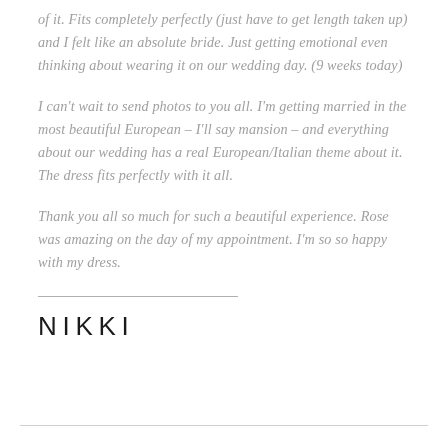of it. Fits completely perfectly (just have to get length taken up) and I felt like an absolute bride. Just getting emotional even thinking about wearing it on our wedding day. (9 weeks today)
I can't wait to send photos to you all. I'm getting married in the most beautiful European – I'll say mansion – and everything about our wedding has a real European/Italian theme about it. The dress fits perfectly with it all.
Thank you all so much for such a beautiful experience. Rose was amazing on the day of my appointment. I'm so so happy with my dress.
NIKKI